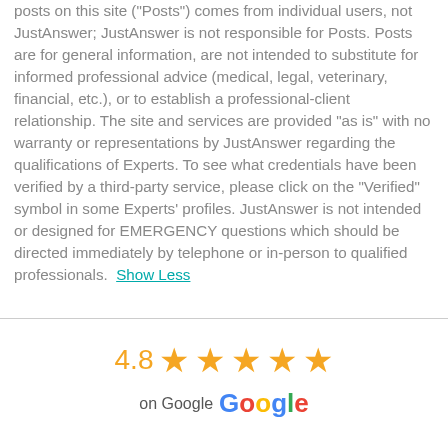posts on this site ("Posts") comes from individual users, not JustAnswer; JustAnswer is not responsible for Posts. Posts are for general information, are not intended to substitute for informed professional advice (medical, legal, veterinary, financial, etc.), or to establish a professional-client relationship. The site and services are provided "as is" with no warranty or representations by JustAnswer regarding the qualifications of Experts. To see what credentials have been verified by a third-party service, please click on the "Verified" symbol in some Experts' profiles. JustAnswer is not intended or designed for EMERGENCY questions which should be directed immediately by telephone or in-person to qualified professionals. Show Less
[Figure (infographic): 4.8 star rating with 5 orange stars and Google logo, showing '4.8 on Google']